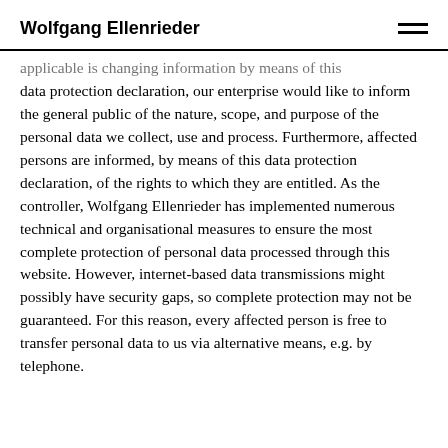Wolfgang Ellenrieder
applicable is changing information by means of this data protection declaration, our enterprise would like to inform the general public of the nature, scope, and purpose of the personal data we collect, use and process. Furthermore, affected persons are informed, by means of this data protection declaration, of the rights to which they are entitled. As the controller, Wolfgang Ellenrieder has implemented numerous technical and organisational measures to ensure the most complete protection of personal data processed through this website. However, internet-based data transmissions might possibly have security gaps, so complete protection may not be guaranteed. For this reason, every affected person is free to transfer personal data to us via alternative means, e.g. by telephone.